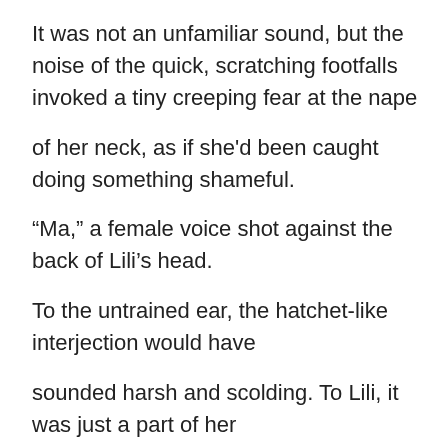It was not an unfamiliar sound, but the noise of the quick, scratching footfalls invoked a tiny creeping fear at the nape of her neck, as if she'd been caught doing something shameful.
“Ma,” a female voice shot against the back of Lili’s head.
To the untrained ear, the hatchet-like interjection would have sounded harsh and scolding. To Lili, it was just a part of her daughter’s accent. The bold syllables melded with a subtle lilt